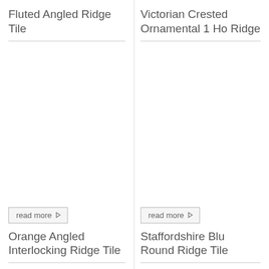Fluted Angled Ridge Tile
Victorian Crested Ornamental 1 Ho Ridge
read more
read more
Orange Angled Interlocking Ridge Tile
Staffordshire Blu Round Ridge Tile